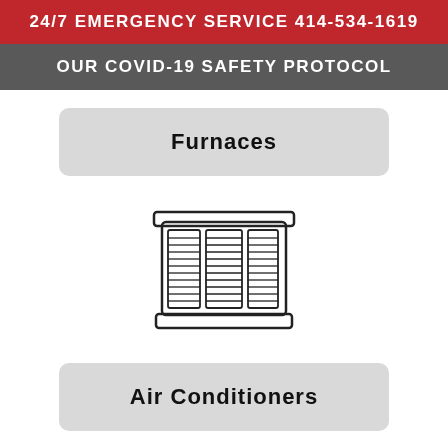24/7 EMERGENCY SERVICE 414-534-1619
OUR COVID-19 SAFETY PROTOCOL
Furnaces
[Figure (illustration): Line drawing icon of an air conditioning unit / outdoor HVAC condenser unit]
Air Conditioners
[Figure (illustration): Line drawing icon of a boiler / tankless water heater unit with pipes]
Boilers